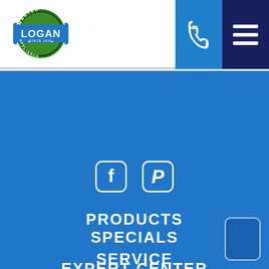[Figure (logo): Logan Master Appliance circular logo with blue rectangle banner saying LOGAN, green circular badge, text MASTER and APPLIANCE around the edge, SINCE 1926 in the center]
[Figure (other): Phone icon button (blue background) and hamburger menu icon button (dark navy background) in the top right corner]
[Figure (other): Facebook and Pinterest social media icon buttons (white rounded square outlines) on blue background]
PRODUCTS
SERVICE
ABOUT US
SPECIALS
EXPERT CENTER